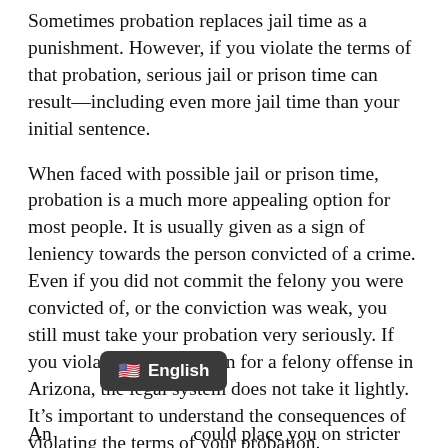Sometimes probation replaces jail time as a punishment. However, if you violate the terms of that probation, serious jail or prison time can result—including even more jail time than your initial sentence.
When faced with possible jail or prison time, probation is a much more appealing option for most people. It is usually given as a sign of leniency towards the person convicted of a crime. Even if you did not commit the felony you were convicted of, or the conviction was weak, you still must take your probation very seriously. If you violate your probation for a felony offense in Arizona, the legal system does not take it lightly. It's important to understand the consequences of violating the terms of your probation.
An [English badge overlay] could place you on stricter